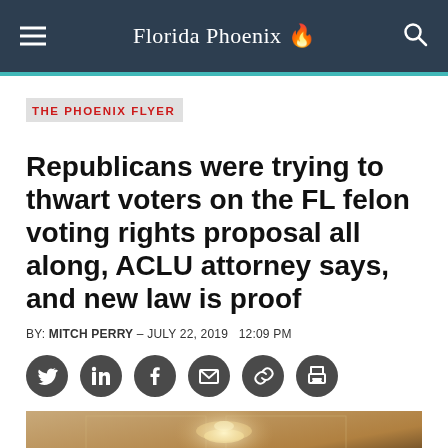Florida Phoenix
THE PHOENIX FLYER
Republicans were trying to thwart voters on the FL felon voting rights proposal all along, ACLU attorney says, and new law is proof
BY: MITCH PERRY - JULY 22, 2019  12:09 PM
[Figure (photo): Interior photo showing ceiling with chandelier lighting, warm tan/brown tones]